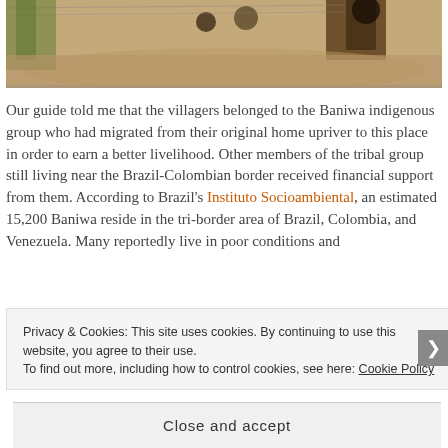[Figure (photo): Bottom portion of a photograph showing a sandy ground area near an indigenous village, with wooden structures and hanging pots visible in the background.]
Our guide told me that the villagers belonged to the Baniwa indigenous group who had migrated from their original home upriver to this place in order to earn a better livelihood. Other members of the tribal group still living near the Brazil-Colombian border received financial support from them. According to Brazil's Instituto Socioambiental, an estimated 15,200 Baniwa reside in the tri-border area of Brazil, Colombia, and Venezuela. Many reportedly live in poor conditions and
Privacy & Cookies: This site uses cookies. By continuing to use this website, you agree to their use.
To find out more, including how to control cookies, see here: Cookie Policy
Close and accept